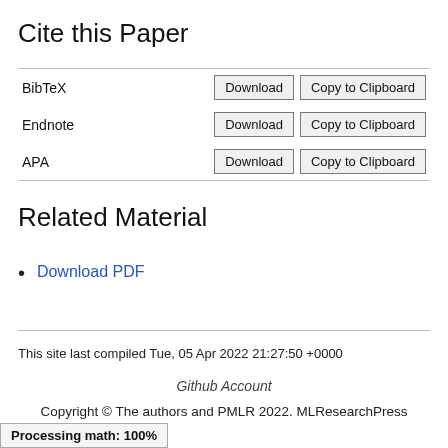Cite this Paper
| Format | Actions |
| --- | --- |
| BibTeX | Download | Copy to Clipboard |
| Endnote | Download | Copy to Clipboard |
| APA | Download | Copy to Clipboard |
Related Material
Download PDF
This site last compiled Tue, 05 Apr 2022 21:27:50 +0000
Github Account
Copyright © The authors and PMLR 2022. MLResearchPress
Processing math: 100%